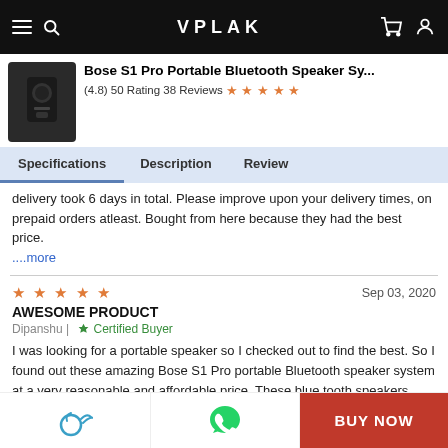VPLAK
Bose S1 Pro Portable Bluetooth Speaker Sy...
(4.8) 50 Rating 38 Reviews ★★★★★
Specifications | Description | Review
delivery took 6 days in total. Please improve upon your delivery times, on prepaid orders atleast. Bought from here because they had the best price. ....more
★★★★★  Sep 03, 2020
AWESOME PRODUCT
Dipanshu | ✓ Certified Buyer
I was looking for a portable speaker so I checked out to find the best. So I found out these amazing Bose S1 Pro portable Bluetooth speaker system at a very reasonable and affordable price. These blue tooth speakers deliver big sound and are als....more
★★★★★  Aug 04, 2020
Great Deal for me
Samay | ✓ Certified Buyer